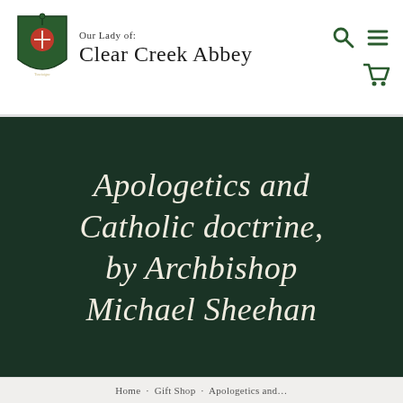[Figure (logo): Our Lady of Clear Creek Abbey logo with shield emblem and site navigation icons (search, menu, cart)]
Apologetics and Catholic doctrine, by Archbishop Michael Sheehan
Home · Gift Shop · Apologetics and...